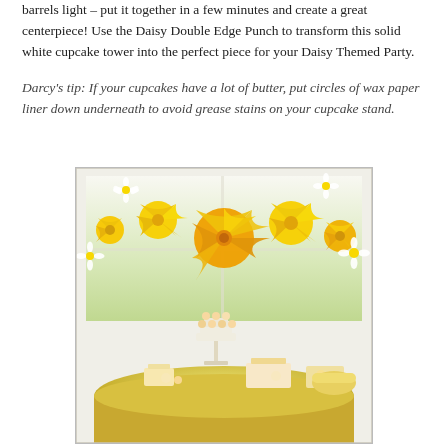barrels light – put it together in a few minutes and create a great centerpiece! Use the Daisy Double Edge Punch to transform this solid white cupcake tower into the perfect piece for your Daisy Themed Party.
Darcy's tip: If your cupcakes have a lot of butter, put circles of wax paper liner down underneath to avoid grease stains on your cupcake stand.
[Figure (photo): A daisy-themed party dessert table with yellow and white hanging paper fan decorations and daisy paper flowers suspended from the ceiling. Below is a tiered cupcake stand and various desserts arranged on a round yellow-draped table.]